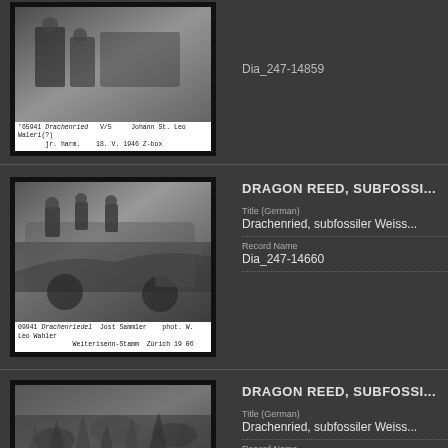[Figure (photo): Black and white historical photo showing people with a cart/wagon, handwritten caption below reading '65941 Drachenried V/S pr Marm 18. V. 1946 Z-box']
Dia_247-14659
[Figure (photo): Black and white historical photo showing people on a horse-drawn cart loaded with vegetation/reeds, handwritten caption reading '09941 Drachenried Jost Sammler Methriessen-Stamen Zürich 19 06']
DRAGON REED, SUBFOSSI...
Title (German)
Drachenried, subfossiler Weiss...
Record Name
Dia_247-14660
[Figure (photo): Black and white historical photo showing vegetation/reeds in a landscape]
DRAGON REED, SUBFOSSI...
Title (German)
Drachenried, subfossiler Weiss...
Record Name